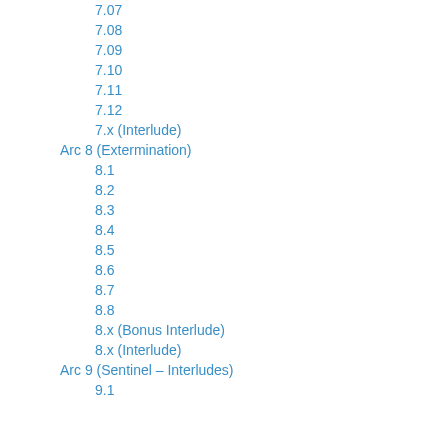7.07
7.08
7.09
7.10
7.11
7.12
7.x (Interlude)
Arc 8 (Extermination)
8.1
8.2
8.3
8.4
8.5
8.6
8.7
8.8
8.x (Bonus Interlude)
8.x (Interlude)
Arc 9 (Sentinel – Interludes)
9.1